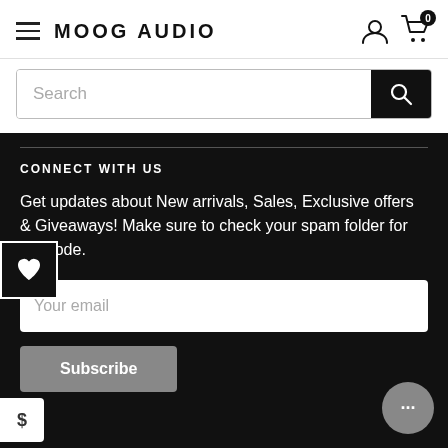MOOG AUDIO
Search
CONNECT WITH US
Get updates about New arrivals, Sales, Exclusive offers & Giveaways! Make sure to check your spam folder for the code.
Your email
Subscribe